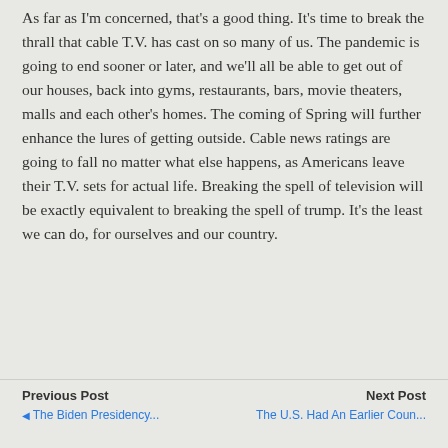As far as I'm concerned, that's a good thing. It's time to break the thrall that cable T.V. has cast on so many of us. The pandemic is going to end sooner or later, and we'll all be able to get out of our houses, back into gyms, restaurants, bars, movie theaters, malls and each other's homes. The coming of Spring will further enhance the lures of getting outside. Cable news ratings are going to fall no matter what else happens, as Americans leave their T.V. sets for actual life. Breaking the spell of television will be exactly equivalent to breaking the spell of trump. It's the least we can do, for ourselves and our country.
Previous Post | Next Post | ◀ The Biden Presidency... | The U.S. Had An Earlier Coun...